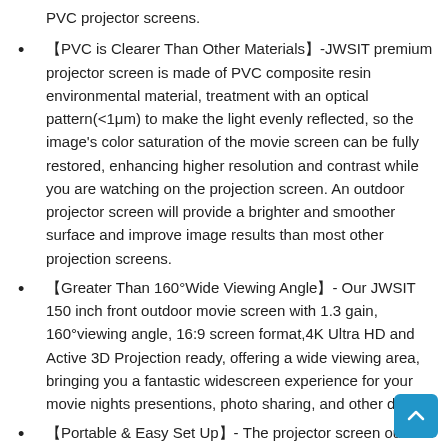PVC projector screens.
【PVC is Clearer Than Other Materials】-JWSIT premium projector screen is made of PVC composite resin environmental material, treatment with an optical pattern(<1μm) to make the light evenly reflected, so the image's color saturation of the movie screen can be fully restored, enhancing higher resolution and contrast while you are watching on the projection screen. An outdoor projector screen will provide a brighter and smoother surface and improve image results than most other projection screens.
【Greater Than 160°Wide Viewing Angle】- Our JWSIT 150 inch front outdoor movie screen with 1.3 gain, 160°viewing angle, 16:9 screen format,4K Ultra HD and Active 3D Projection ready, offering a wide viewing area, bringing you a fantastic widescreen experience for your movie nights presentions, photo sharing, and other display.
【Portable & Easy Set Up】- The projector screen outdoor is